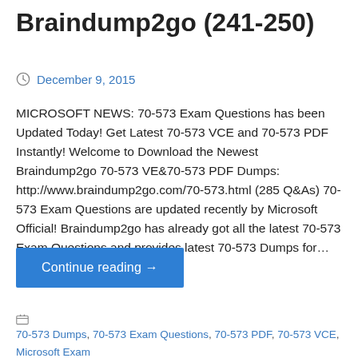Braindump2go (241-250)
December 9, 2015
MICROSOFT NEWS: 70-573 Exam Questions has been Updated Today! Get Latest 70-573 VCE and 70-573 PDF Instantly! Welcome to Download the Newest Braindump2go 70-573 VE&70-573 PDF Dumps: http://www.braindump2go.com/70-573.html (285 Q&As) 70-573 Exam Questions are updated recently by Microsoft Official! Braindump2go has already got all the latest 70-573 Exam Questions and provides latest 70-573 Dumps for…
Continue reading →
70-573 Dumps, 70-573 Exam Questions, 70-573 PDF, 70-573 VCE, Microsoft Exam 70-573 Book, 70-573 Braindump, 70-573 Certification, 70-573 Dumps, 70-573 Dumps PDF, 70-573 eBook, 70-573 Exam Prep, 70-573 Exam Questions, 70-573 Latest Dumps, 70-573 Practice Exam, 70-573 Practice Questions, 70-573 Practice Test, 70-573 Preparation